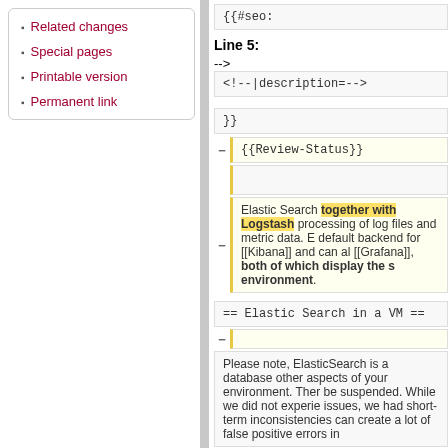Related changes
Special pages
Printable version
Permanent link
Line 5:
{{#seo:
<!--| description=-->
}}
{{Review-Status}}
Elastic Search together with Logstash processing of log files and metric data. E default backend for [[Kibana]] and can al [[Grafana]], both of which display the s environment.
== Elastic Search in a VM ==
Please note, ElasticSearch is a database other aspects of your environment. There be suspended. While we did not experie issues, we had short-term inconsistencies can create a lot of false positive errors in